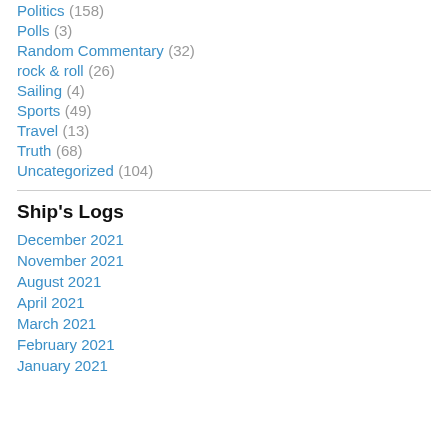Politics (158)
Polls (3)
Random Commentary (32)
rock & roll (26)
Sailing (4)
Sports (49)
Travel (13)
Truth (68)
Uncategorized (104)
Ship's Logs
December 2021
November 2021
August 2021
April 2021
March 2021
February 2021
January 2021